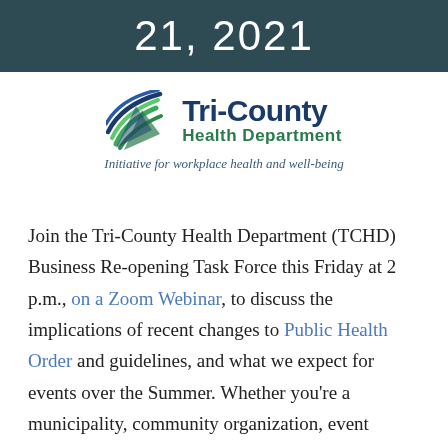21, 2021
[Figure (logo): Tri-County Health Department logo with swoosh icon and tagline 'Initiative for workplace health and well-being']
Join the Tri-County Health Department (TCHD) Business Re-opening Task Force this Friday at 2 p.m., on a Zoom Webinar, to discuss the implications of recent changes to Public Health Order and guidelines, and what we expect for events over the Summer. Whether you're a municipality, community organization, event venue, or event manager, this webinar will be a great